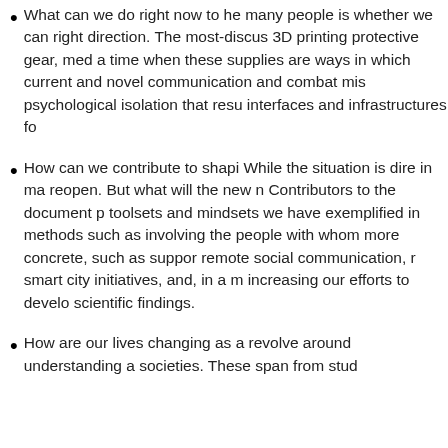What can we do right now to he many people is whether we can right direction. The most-discus 3D printing protective gear, med a time when these supplies are ways in which current and novel communication and combat mis psychological isolation that resu interfaces and infrastructures fo
How can we contribute to shapi While the situation is dire in ma reopen. But what will the new n Contributors to the document p toolsets and mindsets we have exemplified in methods such as involving the people with whom more concrete, such as suppor remote social communication, r smart city initiatives, and, in a m increasing our efforts to develo scientific findings.
How are our lives changing as a revolve around understanding a societies. These span from stud